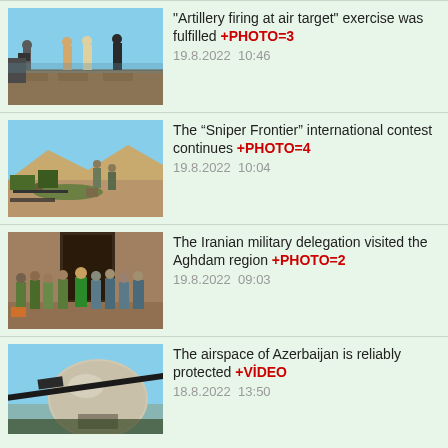[Figure (photo): Military personnel standing on a naval vessel deck, one holding camera equipment]
"Artillery firing at air target" exercise was fulfilled +PHOTO=3
19.8.2022  10:46
[Figure (photo): Soldiers with sniper rifles and artillery equipment in a desert/arid landscape]
The “Sniper Frontier” international contest continues +PHOTO=4
19.8.2022  10:04
[Figure (photo): Group of military personnel in camouflage uniforms posing for a photo, one person in green]
The Iranian military delegation visited the Aghdam region +PHOTO=2
19.8.2022  09:03
[Figure (photo): Close-up of a radar or military equipment dome with a rifle barrel visible]
The airspace of Azerbaijan is reliably protected +VİDEO
18.8.2022  13:50